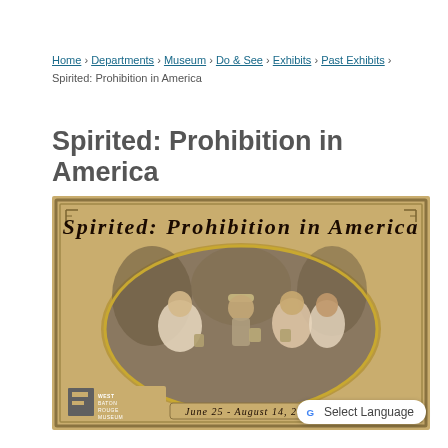Home › Departments › Museum › Do & See › Exhibits › Past Exhibits › Spirited: Prohibition in America
Spirited: Prohibition in America
[Figure (illustration): Exhibit poster for 'Spirited: Prohibition in America' showing a gold/tan background with decorative border, title text in stylized font, a sepia-toned oval photo of people sharing drinks outdoors, West Baton Rouge Museum logo at bottom left, and dates 'June 25 - August 14, 2016']
Select Language